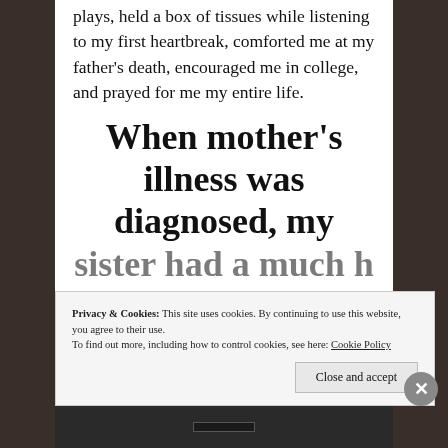plays, held a box of tissues while listening to my first heartbreak, comforted me at my father's death, encouraged me in college, and prayed for me my entire life.
When mother's illness was diagnosed, my sister had a much h...
Privacy & Cookies: This site uses cookies. By continuing to use this website, you agree to their use.
To find out more, including how to control cookies, see here: Cookie Policy
Close and accept